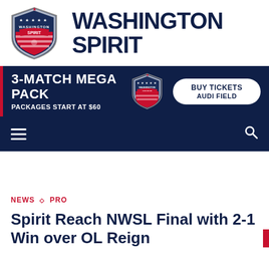[Figure (logo): Washington Spirit shield logo with stars and stripes design]
WASHINGTON SPIRIT
[Figure (infographic): 3-Match Mega Pack advertisement banner: Packages start at $60, Buy Tickets, Audi Field]
[Figure (screenshot): Navigation bar with hamburger menu and search icon on dark navy background]
NEWS ◇ PRO
Spirit Reach NWSL Final with 2-1 Win over OL Reign